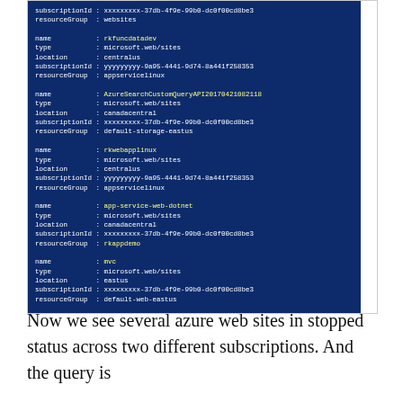[Figure (screenshot): Terminal/PowerShell output on dark blue background showing Azure web sites with subscriptionId, resourceGroup, name, type, location fields for multiple resources including rkfuncdatadev, AzureSearchCustomQueryAPI20170421082118, rkwebapplinux, app-service-web-dotnet, and mvc.]
Now we see several azure web sites in stopped status across two different subscriptions. And the query is